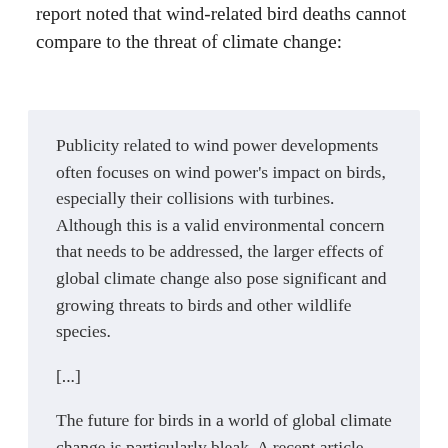report noted that wind-related bird deaths cannot compare to the threat of climate change:
Publicity related to wind power developments often focuses on wind power’s impact on birds, especially their collisions with turbines. Although this is a valid environmental concern that needs to be addressed, the larger effects of global climate change also pose significant and growing threats to birds and other wildlife species.
[...]
The future for birds in a world of global climate change is particularly bleak. A recent article found that 950 to 1,800 terrestrial bird species are imperiled by climate changes and habitat loss.
(Department of Energy, July 2008)